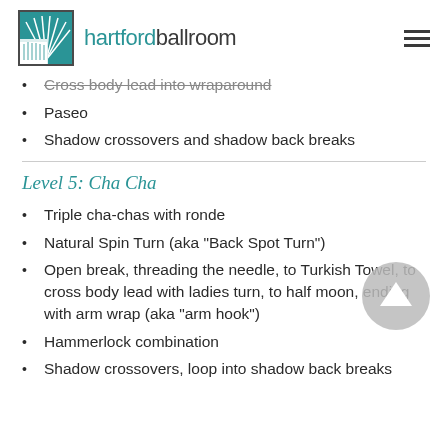hartfordballroom
Cross body lead into wraparound
Paseo
Shadow crossovers and shadow back breaks
Level 5: Cha Cha
Triple cha-chas with ronde
Natural Spin Turn (aka "Back Spot Turn")
Open break, threading the needle, to Turkish Towel, to cross body lead with ladies turn, to half moon, ending with arm wrap (aka "arm hook")
Hammerlock combination
Shadow crossovers, loop into shadow back breaks